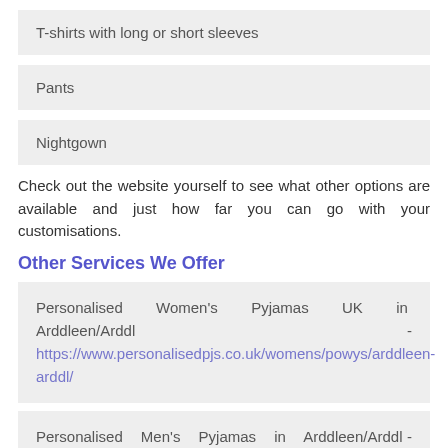T-shirts with long or short sleeves
Pants
Nightgown
Check out the website yourself to see what other options are available and just how far you can go with your customisations.
Other Services We Offer
Personalised Women's Pyjamas UK in Arddleen/Arddl - https://www.personalisedpjs.co.uk/womens/powys/arddleen-arddl/
Personalised Men's Pyjamas in Arddleen/Arddl - https://www.personalisedpjs.co.uk/mens/powys/arddleen-arddl/